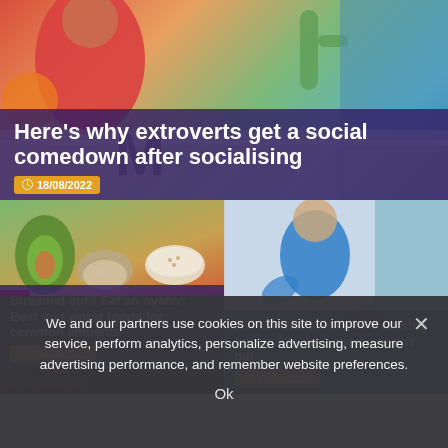[Figure (screenshot): Top article card with illustrated background (food, people) and purple overlay containing headline and date]
Here's why extroverts get a social comedown after socialising
18/08/2022
[Figure (screenshot): Left grid card: illustrated food items (avocado, oyster, bowl) with bottom banner reading 'CAUSE STRESS ... CAUSE HEARTBU...' and purple overlay with headline and date]
Stressed out? Eat an oyster: Best and worst foods for common ailments
18/08/2022
[Figure (screenshot): Right grid card: photo of person cleaning/nursing home context with purple overlay containing headline and date]
Her brother landed in a nursing home. She was sued over his bill.
18/08/2022
We and our partners use cookies on this site to improve our service, perform analytics, personalize advertising, measure advertising performance, and remember website preferences.
Ok